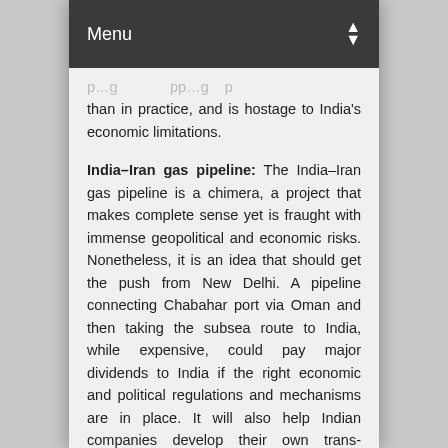Menu
than in practice, and is hostage to India's economic limitations.
India–Iran gas pipeline: The India–Iran gas pipeline is a chimera, a project that makes complete sense yet is fraught with immense geopolitical and economic risks. Nonetheless, it is an idea that should get the push from New Delhi. A pipeline connecting Chabahar port via Oman and then taking the subsea route to India, while expensive, could pay major dividends to India if the right economic and political regulations and mechanisms are in place. It will also help Indian companies develop their own trans-national and inter-continental pipeline expertise, a critical component in future energy security.